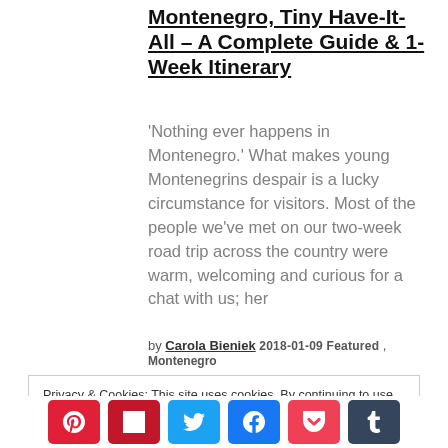Montenegro, Tiny Have-It-All – A Complete Guide & 1-Week Itinerary
'Nothing ever happens in Montenegro.' What makes young Montenegrins despair is a lucky circumstance for visitors. Most of the people we've met on our two-week road trip across the country were warm, welcoming and curious for a chat with us; her
by Carola Bieniek 2018-01-09 Featured , Montenegro
Privacy & Cookies: This site uses cookies. By continuing to use this website, you agree to their use.
To find out more, including how to control cookies, see here: Cookie Policy
[Figure (other): Social share buttons: Pinterest (red), Flipboard (dark red), Twitter (blue), Facebook (blue), Pocket (pink-red), Tumblr (dark slate)]